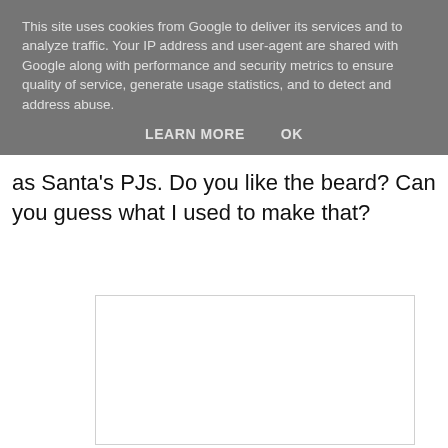This site uses cookies from Google to deliver its services and to analyze traffic. Your IP address and user-agent are shared with Google along with performance and security metrics to ensure quality of service, generate usage statistics, and to detect and address abuse.
LEARN MORE   OK
as Santa's PJs. Do you like the beard? Can you guess what I used to make that?
[Figure (other): White rectangular image area with light border, content not visible]